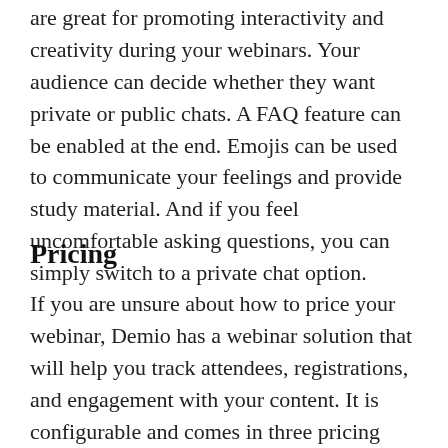are great for promoting interactivity and creativity during your webinars. Your audience can decide whether they want private or public chats. A FAQ feature can be enabled at the end. Emojis can be used to communicate your feelings and provide study material. And if you feel uncomfortable asking questions, you can simply switch to a private chat option.
Pricing
If you are unsure about how to price your webinar, Demio has a webinar solution that will help you track attendees, registrations, and engagement with your content. It is configurable and comes in three pricing options. Starter plans cost $34 per month, limit your webinar to 50 people and 3 hours. To increase participation,